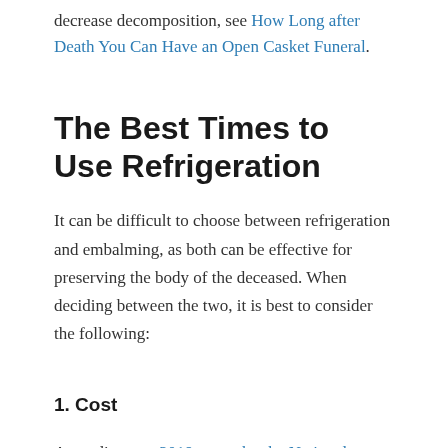decrease decomposition, see How Long after Death You Can Have an Open Casket Funeral.
The Best Times to Use Refrigeration
It can be difficult to choose between refrigeration and embalming, as both can be effective for preserving the body of the deceased. When deciding between the two, it is best to consider the following:
1. Cost
According to a 2019 report by the National Funeral Directors Association (NFDA), the average cost for embalming in the